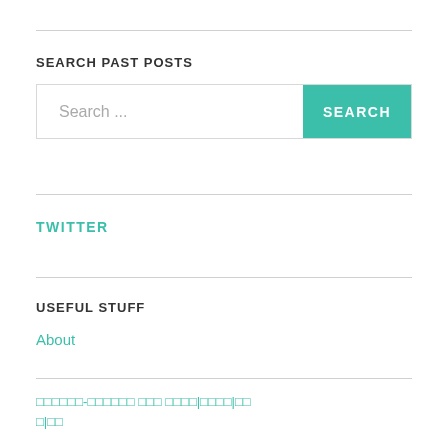SEARCH PAST POSTS
[Figure (other): Search input bar with placeholder text 'Search ...' and a teal SEARCH button]
TWITTER
USEFUL STUFF
About
▯▯▯▯▯▯-▯▯▯▯▯▯ ▯▯▯ ▯▯▯▯|▯▯▯▯|▯▯▯|▯▯